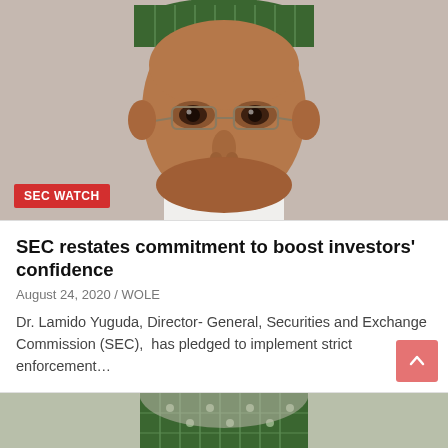[Figure (photo): Close-up portrait of Dr. Lamido Yuguda wearing glasses and a green embroidered cap, against a light grey background]
SEC WATCH
SEC restates commitment to boost investors' confidence
August 24, 2020 / WOLE
Dr. Lamido Yuguda, Director- General, Securities and Exchange Commission (SEC),  has pledged to implement strict enforcement…
[Figure (photo): Partial view of Dr. Lamido Yuguda's torso showing a green embroidered traditional Nigerian attire]